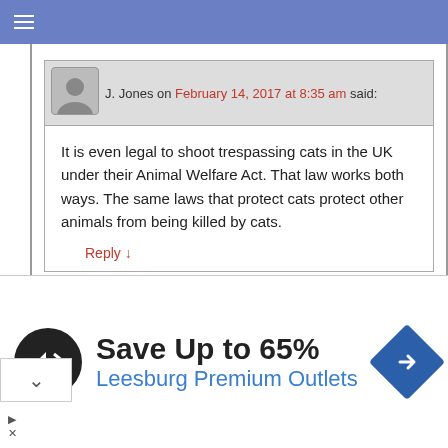≡
J. Jones on February 14, 2017 at 8:35 am said:
It is even legal to shoot trespassing cats in the UK under their Animal Welfare Act. That law works both ways. The same laws that protect cats protect other animals from being killed by cats.
Reply ↓
Shirley Swaine on February 15, 2017 at 8:51 am said:
Well, there you have it, you just make it up to suit yourself don't you? Under section 2(a) of the Animal Welfare Act 2006, cats are a protected species. You are clearly too stupid to realise that
[Figure (infographic): Advertisement banner: Save Up to 65% Leesburg Premium Outlets with logo icon and navigation arrow icon]